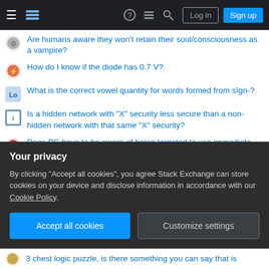Stack Exchange navigation bar with Log in and Sign up buttons
Are humans aware they won't retain their soul/consciousness as a vampire?
How do I know if the diode has 0.7 V?
What is the correct vowel quantity for words formed from sīgn-?
Is a hidden network with "X" security less secure than a non-hidden network with that same "X" security?
Does PC have to be aware of being targeted to use immediate action as a response?
Mozart K.494: How do you play this (turn inside a tie)?
Why were the West African islands uninhabited?
How to manipulate selected letters in LuaTeX?
Your privacy
By clicking "Accept all cookies", you agree Stack Exchange can store cookies on your device and disclose information in accordance with our Cookie Policy.
[Accept all cookies] [Customize settings]
3 chest logic puzzle, is there something you can say that is